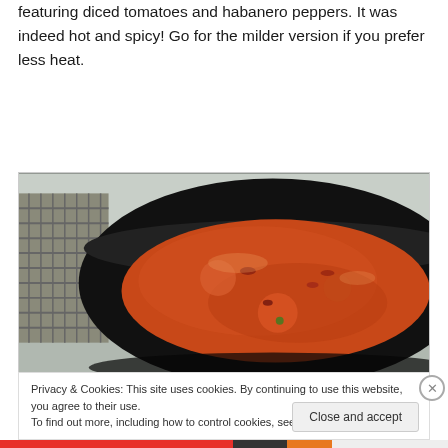featuring diced tomatoes and habanero peppers. It was indeed hot and spicy! Go for the milder version if you prefer less heat.
[Figure (photo): A black saucepan or pot viewed from above containing a thick orange-red tomato-based sauce or stew, sitting on a kitchen surface with a metal rack visible in the background.]
Privacy & Cookies: This site uses cookies. By continuing to use this website, you agree to their use. To find out more, including how to control cookies, see here: Cookie Policy